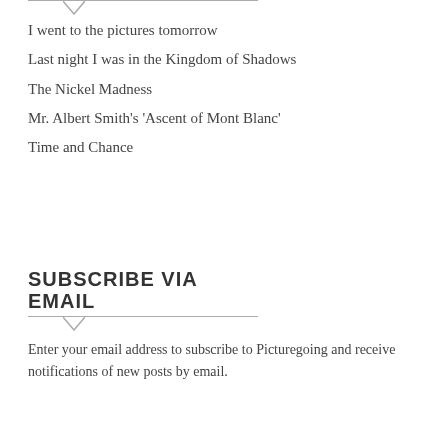I went to the pictures tomorrow
Last night I was in the Kingdom of Shadows
The Nickel Madness
Mr. Albert Smith's 'Ascent of Mont Blanc'
Time and Chance
SUBSCRIBE VIA EMAIL
Enter your email address to subscribe to Picturegoing and receive notifications of new posts by email.